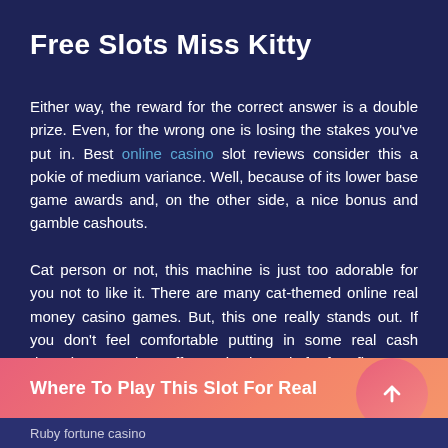Free Slots Miss Kitty
Either way, the reward for the correct answer is a double prize. Even, for the wrong one is losing the stakes you've put in. Best online casino slot reviews consider this a pokie of medium variance. Well, because of its lower base game awards and, on the other side, a nice bonus and gamble cashouts.
Cat person or not, this machine is just too adorable for you not to like it. There are many cat-themed online real money casino games. But, this one really stands out. If you don't feel comfortable putting in some real cash deposit, UK casinos offer to give it a spin for free first.
Where To Play This Slot For Real
Ruby fortune casino